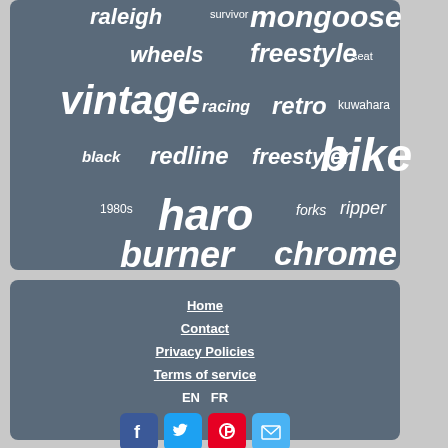[Figure (infographic): Word cloud on dark slate blue background showing BMX bicycle related terms: raleigh, survivor, mongoose, wheels, freestyle, seat, vintage, racing, retro, kuwahara, black, redline, freestyler, bike, haro, 1980s, forks, ripper, burner, chrome]
Home
Contact
Privacy Policies
Terms of service
EN   FR